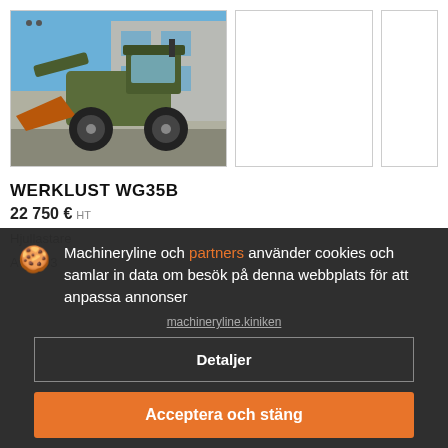[Figure (photo): Front-left view of a Werklust WG35B wheel loader with orange bucket, olive/military green color, parked outside a building with blue sky background.]
[Figure (photo): Thumbnail image placeholder — white/blank second gallery image.]
[Figure (photo): Thumbnail image placeholder — white/blank third gallery image (partially visible).]
WERKLUST WG35B
22 750 € HT
Hjullastare
Av 1993
Machineryline och partners använder cookies och samlar in data om besök på denna webbplats för att anpassa annonser
Detaljer
Acceptera och stäng